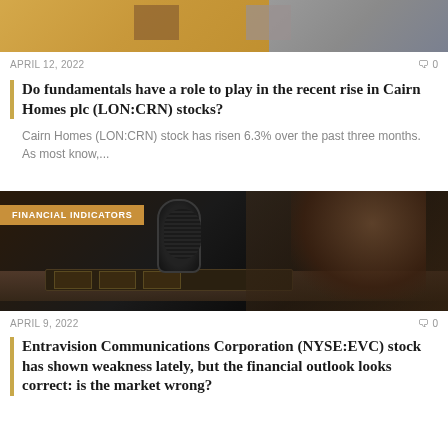[Figure (photo): Top portion of a house/building image, partially cropped]
APRIL 12, 2022
0
Do fundamentals have a role to play in the recent rise in Cairn Homes plc (LON:CRN) stocks?
Cairn Homes (LON:CRN) stock has risen 6.3% over the past three months. As most know,...
[Figure (photo): Person at a radio broadcasting desk with a large professional microphone in foreground, with FINANCIAL INDICATORS badge overlay]
APRIL 9, 2022
0
Entravision Communications Corporation (NYSE:EVC) stock has shown weakness lately, but the financial outlook looks correct: is the market wrong?